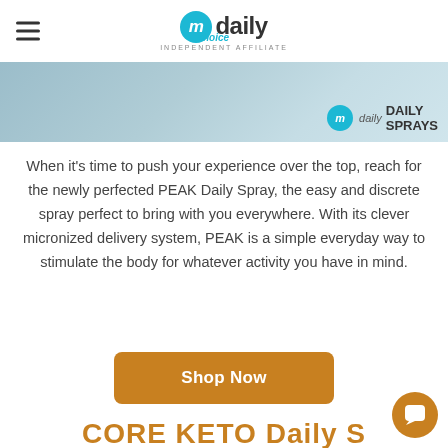my daily choice — independent affiliate
[Figure (photo): Banner image showing PEAK Daily Sprays product with blue-grey background and my daily DAILY SPRAYS badge]
When it's time to push your experience over the top, reach for the newly perfected PEAK Daily Spray, the easy and discrete spray perfect to bring with you everywhere. With its clever micronized delivery system, PEAK is a simple everyday way to stimulate the body for whatever activity you have in mind.
Shop Now
CORE KETO Daily S...